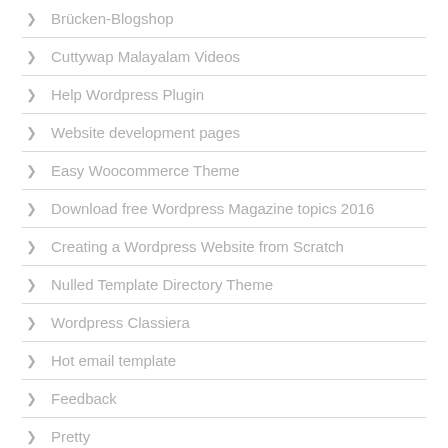Brücken-Blogshop
Cuttywap Malayalam Videos
Help Wordpress Plugin
Website development pages
Easy Woocommerce Theme
Download free Wordpress Magazine topics 2016
Creating a Wordpress Website from Scratch
Nulled Template Directory Theme
Wordpress Classiera
Hot email template
Feedback
Pretty
The Xprs Website Builder Review
Create your website
artwork